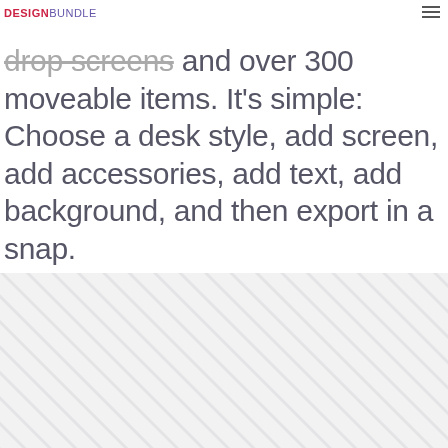DESIGN BUNDLE
drop screens and over 300 moveable items. It's simple: Choose a desk style, add screen, add accessories, add text, add background, and then export in a snap.
[Figure (illustration): Light grey diagonal stripe pattern background section at the bottom of the page]